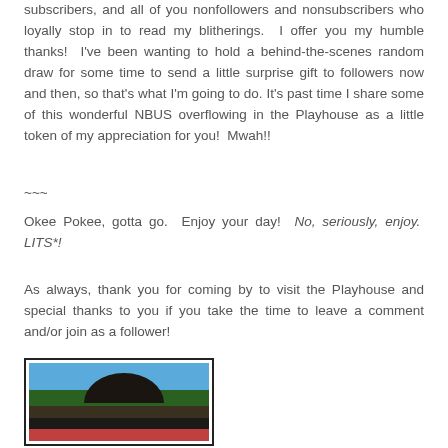subscribers, and all of you nonfollowers and nonsubscribers who loyally stop in to read my blitherings.  I offer you my humble thanks!  I've been wanting to hold a behind-the-scenes random draw for some time to send a little surprise gift to followers now and then, so that's what I'm going to do. It's past time I share some of this wonderful NBUS overflowing in the Playhouse as a little token of my appreciation for you!  Mwah!!
~~~
Okee Pokee, gotta go.  Enjoy your day!  No, seriously, enjoy.  LITS*!
As always, thank you for coming by to visit the Playhouse and special thanks to you if you take the time to leave a comment and/or join as a follower!
[Figure (photo): Outdoor photo showing a dark architectural structure with a curved/umbrella-like roof overhang, trees/foliage, and a pink sign at the bottom, against a blue sky.]